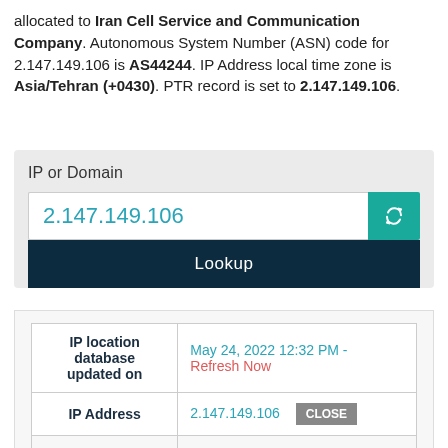allocated to Iran Cell Service and Communication Company. Autonomous System Number (ASN) code for 2.147.149.106 is AS44244. IP Address local time zone is Asia/Tehran (+0430). PTR record is set to 2.147.149.106.
[Figure (screenshot): IP lookup widget with input field showing 2.147.149.106, a teal refresh button, and a dark Lookup button]
| Field | Value |
| --- | --- |
| IP location database updated on | May 24, 2022 12:32 PM - Refresh Now |
| IP Address | 2.147.149.106  CLOSE |
| Reverse DNS / | 2.147.149.106 |